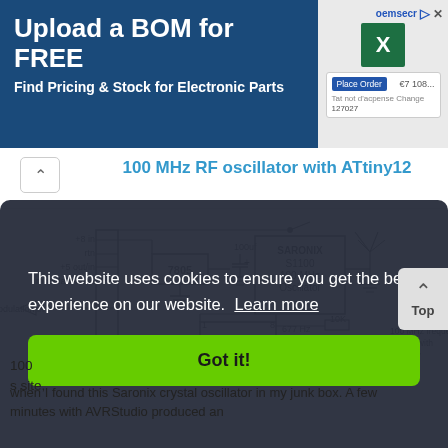[Figure (screenshot): Advertisement banner for oemsecrets.com - Upload a BOM for FREE, Find Pricing & Stock for Electronic Parts, with Excel icon and order interface]
100 MHz RF oscillator with ATtiny12
[Figure (circuit-diagram): Circuit schematic showing ATtiny12 microcontroller connected to a SARONIX S1100 100 MHz Oscillator, 7805 voltage regulator, capacitors, resistors (10K, 330, 10K), and antenna. Labels include: +8 in, rtn, +5 out/in, modulation out, modulation in, RF out, 100uF, 677 Hz, 100 MHz frequency source with]
This website uses cookies to ensure you get the best experience on our website.  Learn more
Got it!
100
s site,
when I found this Saronix crystal oscillator in my junk box. A few minutes with AVRStudio produced an